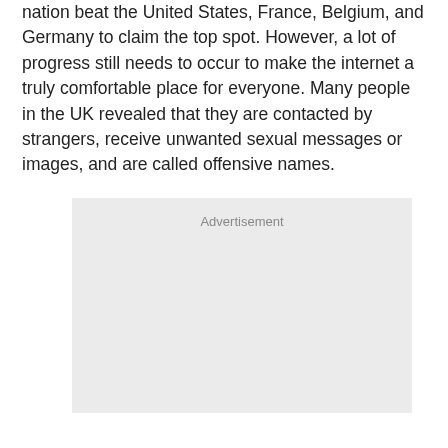nation beat the United States, France, Belgium, and Germany to claim the top spot. However, a lot of progress still needs to occur to make the internet a truly comfortable place for everyone. Many people in the UK revealed that they are contacted by strangers, receive unwanted sexual messages or images, and are called offensive names.
[Figure (other): Advertisement placeholder box with light gray background and 'Advertisement' label text]